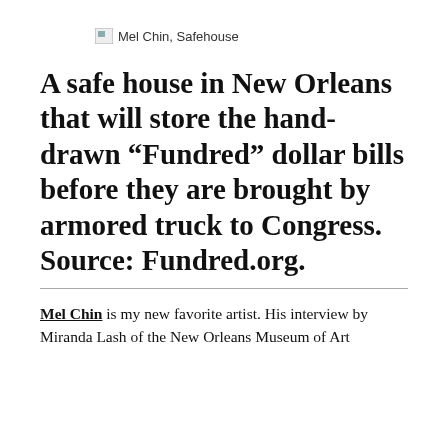[Figure (illustration): Broken image placeholder icon with alt text 'Mel Chin, Safehouse']
A safe house in New Orleans that will store the hand-drawn “Fundred” dollar bills before they are brought by armored truck to Congress. Source: Fundred.org.
Mel Chin is my new favorite artist. His interview by Miranda Lash of the New Orleans Museum of Art